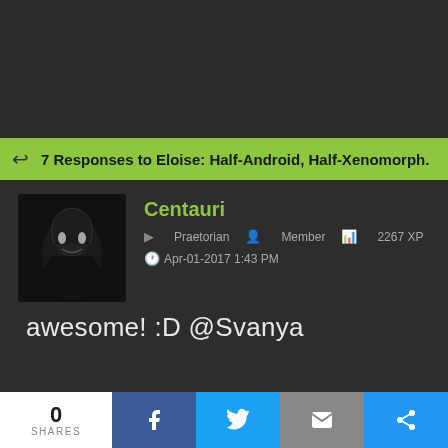7 Responses to Eloise: Half-Android, Half-Xenomorph.
Centauri
Praetorian   Member   2267 XP
Apr-01-2017 1:43 PM
awesome!  :D @Svanya
* * * *
"Must be something we haven't seen yet."__Bishop
0 SHARES